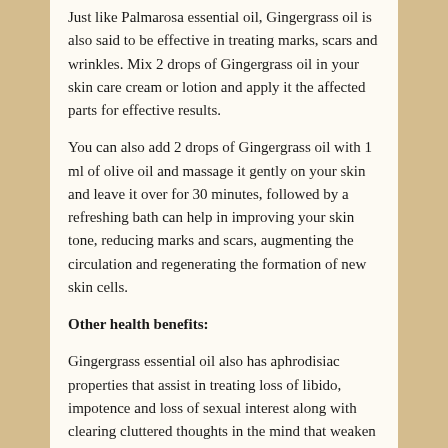Just like Palmarosa essential oil, Gingergrass oil is also said to be effective in treating marks, scars and wrinkles. Mix 2 drops of Gingergrass oil in your skin care cream or lotion and apply it the affected parts for effective results.
You can also add 2 drops of Gingergrass oil with 1 ml of olive oil and massage it gently on your skin and leave it over for 30 minutes, followed by a refreshing bath can help in improving your skin tone, reducing marks and scars, augmenting the circulation and regenerating the formation of new skin cells.
Other health benefits:
Gingergrass essential oil also has aphrodisiac properties that assist in treating loss of libido, impotence and loss of sexual interest along with clearing cluttered thoughts in the mind that weaken the intimacy with your partner. This oil is also used in making perfumes, soaps, colognes and other skin care products.
Blending: